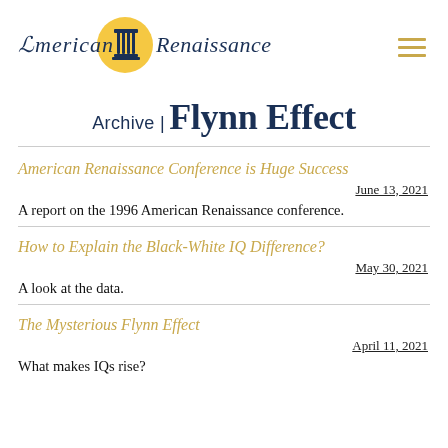American Renaissance
Archive | Flynn Effect
American Renaissance Conference is Huge Success
June 13, 2021
A report on the 1996 American Renaissance conference.
How to Explain the Black-White IQ Difference?
May 30, 2021
A look at the data.
The Mysterious Flynn Effect
April 11, 2021
What makes IQs rise?